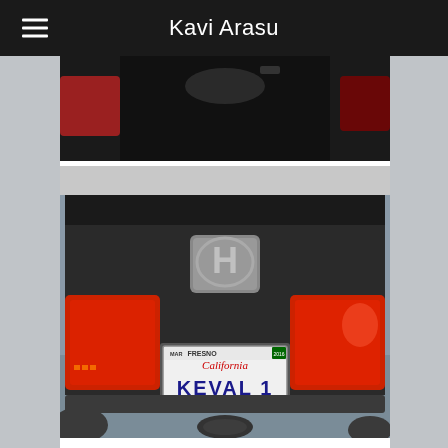Kavi Arasu
[Figure (photo): Partial top view of a car rear, showing tail lights against a dark background]
[Figure (photo): Close-up of rear of a black Honda car with California license plate reading KEVAL 1, Fresno county, CLAWSON dealer frame, red tail lights visible on sides, water/bay in background]